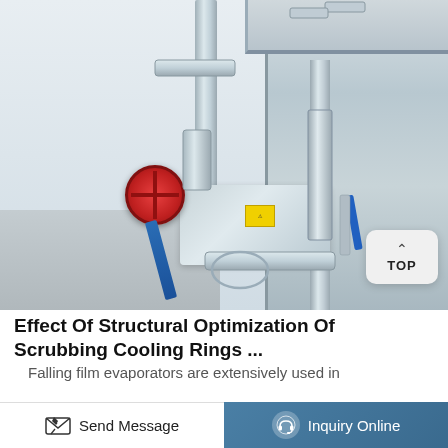[Figure (photo): Close-up photograph of stainless steel industrial equipment — falling film evaporator with pipe fittings, valves, a red handwheel valve, blue lever handle, and pipe connections. A 'TOP' navigation button overlay is visible in the lower right of the image.]
Effect Of Structural Optimization Of Scrubbing Cooling Rings ...
Falling film evaporators are extensively used in
Send Message
Inquiry Online